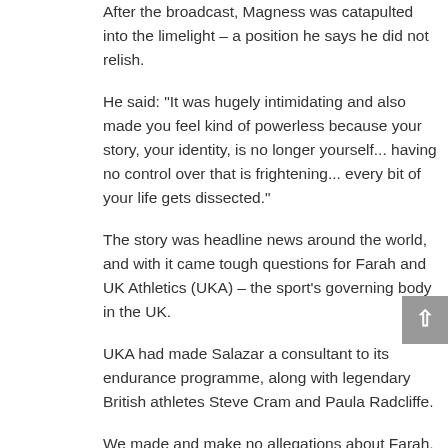After the broadcast, Magness was catapulted into the limelight – a position he says he did not relish.
He said: “It was hugely intimidating and also made you feel kind of powerless because your story, your identity, is no longer yourself... having no control over that is frightening... every bit of your life gets dissected.”
The story was headline news around the world, and with it came tough questions for Farah and UK Athletics (UKA) – the sport’s governing body in the UK.
UKA had made Salazar a consultant to its endurance programme, along with legendary British athletes Steve Cram and Paula Radcliffe.
We made and make no allegations about Farah, but questioned his association with a coach who was believed by so many of his former athletes to be on the